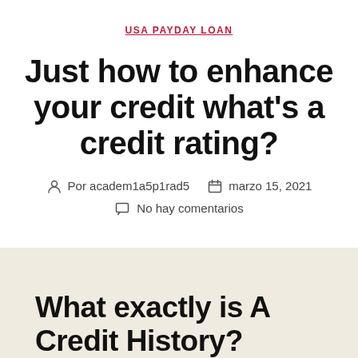USA PAYDAY LOAN
Just how to enhance your credit what's a credit rating?
Por academ1a5p1rad5   marzo 15, 2021
No hay comentarios
What exactly is A Credit History?